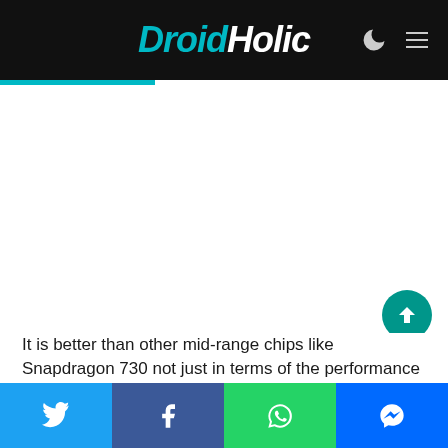DroidHolic
It is better than other mid-range chips like Snapdragon 730 not just in terms of the performance
[Figure (infographic): Social share bar with Twitter, Facebook, WhatsApp, and Messenger buttons]